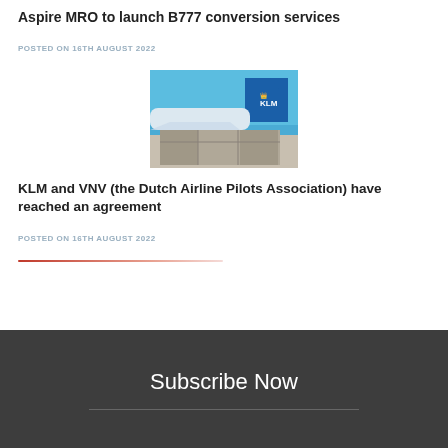[Figure (logo): Aspire Aviation logo - grey/light blue text on light background]
Aspire MRO to launch B777 conversion services
POSTED ON 16TH AUGUST 2022
[Figure (photo): KLM aircraft tail and cargo being loaded on tarmac under blue sky]
KLM and VNV (the Dutch Airline Pilots Association) have reached an agreement
POSTED ON 16TH AUGUST 2022
Subscribe Now